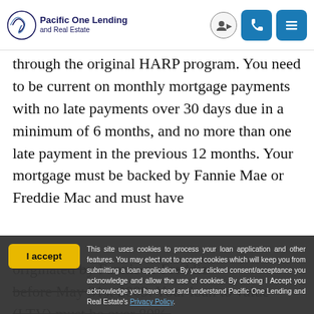Pacific One Lending and Real Estate
through the original HARP program. You need to be current on monthly mortgage payments with no late payments over 30 days due in a minimum of 6 months, and no more than one late payment in the previous 12 months. Your mortgage must be backed by Fannie Mae or Freddie Mac and must have originated by Fannie or Freddie before May 31st 2009. Your loan to value (LTV) must be over 80%.
This site uses cookies to process your loan application and other features. You may elect not to accept cookies which will keep you from submitting a loan application. By your clicked consent/acceptance you acknowledge and allow the use of cookies. By clicking I Accept you acknowledge you have read and understand Pacific One Lending and Real Estate's Privacy Policy.
The purpose of HARP is to allow homeowners who owe a mortgage that is